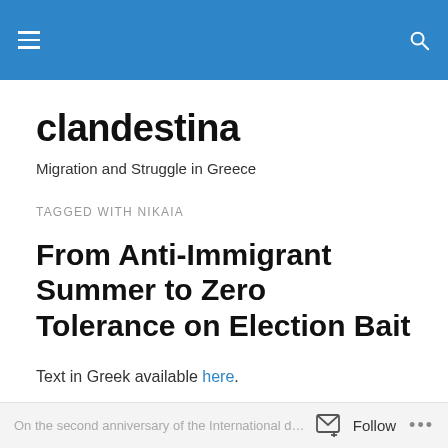clandestina — navigation header with hamburger menu and search icon
clandestina
Migration and Struggle in Greece
TAGGED WITH NIKAIA
From Anti-Immigrant Summer to Zero Tolerance on Election Bait
Text in Greek available here.
On the second anniversary of the International d… Follow …